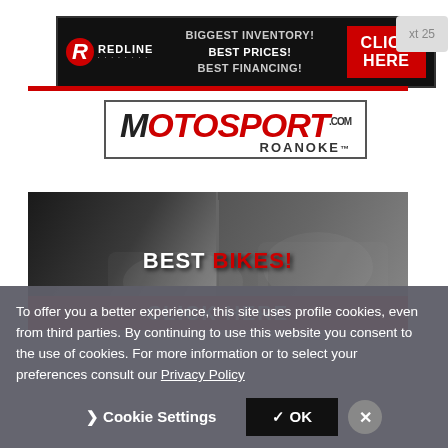[Figure (illustration): Redline banner advertisement with logo, text 'BIGGEST INVENTORY! BEST PRICES! BEST FINANCING!' and red CLICK HERE button]
[Figure (logo): MotoSport Roanoke logo in red italic font inside a rectangular border]
[Figure (photo): Two motorcyclists on bikes, black and white photo with text 'BEST BIKES!' and red CLICK HERE bar]
To offer you a better experience, this site uses profile cookies, even from third parties. By continuing to use this website you consent to the use of cookies. For more information or to select your preferences consult our Privacy Policy